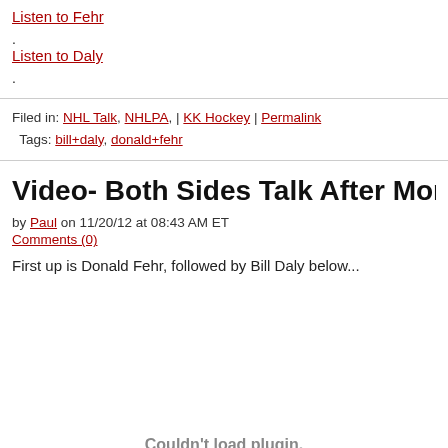Listen to Fehr.
Listen to Daly.
Filed in: NHL Talk, NHLPA, | KK Hockey | Permalink
Tags: bill+daly, donald+fehr
Video- Both Sides Talk After Monday's CBA Me…
by Paul on 11/20/12 at 08:43 AM ET
Comments (0)
First up is Donald Fehr, followed by Bill Daly below...
[Figure (other): Couldn't load plugin.]